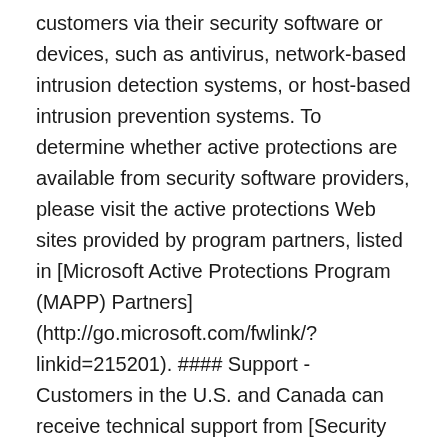customers via their security software or devices, such as antivirus, network-based intrusion detection systems, or host-based intrusion prevention systems. To determine whether active protections are available from security software providers, please visit the active protections Web sites provided by program partners, listed in [Microsoft Active Protections Program (MAPP) Partners](http://go.microsoft.com/fwlink/?linkid=215201). #### Support - Customers in the U.S. and Canada can receive technical support from [Security Support](http://go.microsoft.com/fwlink/?linkid=21131) or 1-866-PCSAFETY. There is no charge for support calls that are associated with security updates. For more information about available support options, see [Microsoft Help and Support](http://support.microsoft.com/). - International customers can receive support from their local Microsoft subsidiaries. There is no charge for support that is associated with security updates. For more information